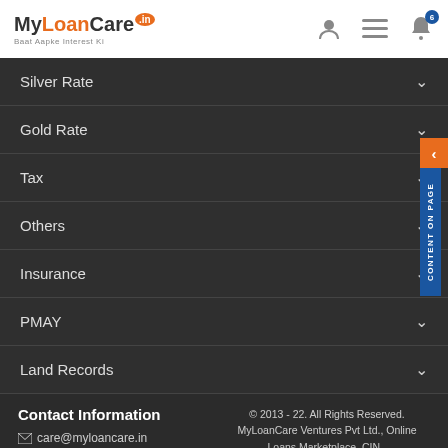MyLoanCare.in — Baat Aapke Interest Ki
Silver Rate
Gold Rate
Tax
Others
Insurance
PMAY
Land Records
Contact Information
✉ care@myloancare.in
☎ +91-8448389600
© 2013 - 22. All Rights Reserved. MyLoanCare Ventures Pvt Ltd., Online Loans Marketplace, CIN - U65100DL2013PTC258637, corporate@myloancare.in
Follow Us